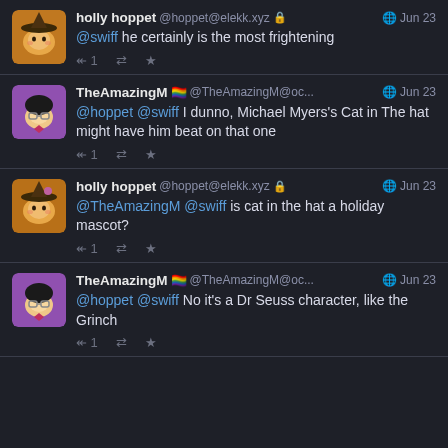holly hoppet @hoppet@elekk.xyz 🔒 Jun 23 — @swiff he certainly is the most frightening
TheAmazingM 🏳️‍🌈 @TheAmazingM@oc... Jun 23 — @hoppet @swiff I dunno, Michael Myers's Cat in The hat might have him beat on that one
holly hoppet @hoppet@elekk.xyz 🔒 Jun 23 — @TheAmazingM @swiff is cat in the hat a holiday mascot?
TheAmazingM 🏳️‍🌈 @TheAmazingM@oc... Jun 23 — @hoppet @swiff No it's a Dr Seuss character, like the Grinch